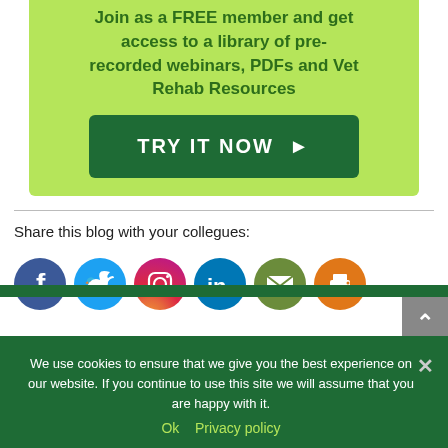Join as a FREE member and get access to a library of pre-recorded webinars, PDFs and Vet Rehab Resources
[Figure (other): Green 'TRY IT NOW' button with right arrow]
Share this blog with your collegues:
[Figure (other): Social media icons: Facebook, Twitter, Instagram, LinkedIn, Email, Print]
We use cookies to ensure that we give you the best experience on our website. If you continue to use this site we will assume that you are happy with it.
Ok   Privacy policy